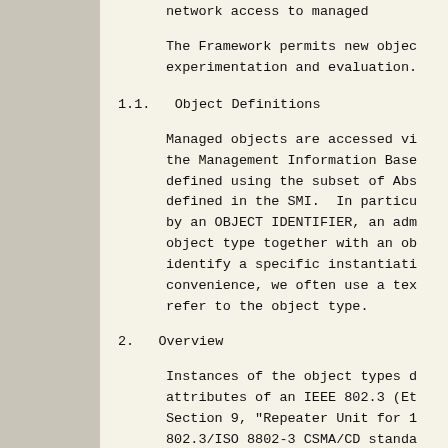network access to managed
The Framework permits new objects to be added for experimentation and evaluation.
1.1.  Object Definitions
Managed objects are accessed via a virtual information store, the Management Information Base (MIB). Objects in the MIB are defined using the subset of Abstract Syntax Notation One (ASN.1) defined in the SMI.  In particular, each object type is named by an OBJECT IDENTIFIER, an administratively assigned name. The object type together with an object instance serves to uniquely identify a specific instantiation of the object. For convenience, we often use a textual string, termed the descriptor, to refer to the object type.
2.  Overview
Instances of the object types defined in this document represent attributes of an IEEE 802.3 (Ethernet) repeater, as described in Section 9, "Repeater Unit for 10 Mb/s Baseband Networks", of the 802.3/ISO 8802-3 CSMA/CD standard.
These Repeater MIB objects may